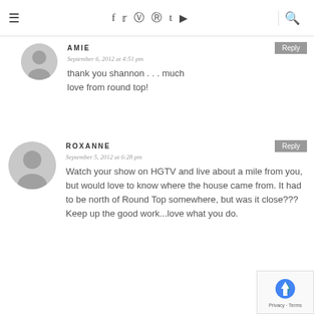≡  f  tw  ig  pi  t  yt  🔍
AMIE
September 6, 2012 at 4:51 pm
thank you shannon . . . much love from round top!
ROXANNE
September 5, 2012 at 6:28 pm
Watch your show on HGTV and live about a mile from you, but would love to know where the house came from. It had to be north of Round Top somewhere, but was it close??? Keep up the good work...love what you do.